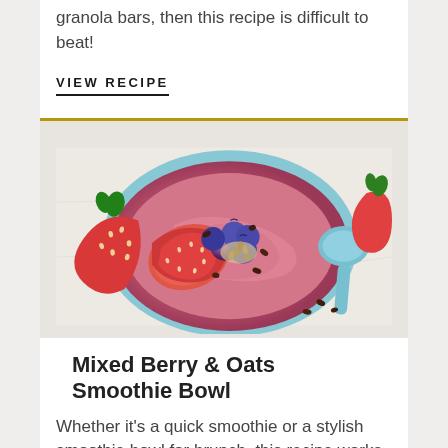If you've got the time to make your own granola bars, then this recipe is difficult to beat!
VIEW RECIPE
[Figure (photo): A smoothie bowl with pink/berry blended base topped with fresh strawberry slices, blueberries, cacao nibs, and hemp seeds, in a light blue bowl. A blue spoon rests beside it on a white marble surface.]
Mixed Berry & Oats Smoothie Bowl
Whether it's a quick smoothie or a stylish smoothie bowl for brunch, this recipe works